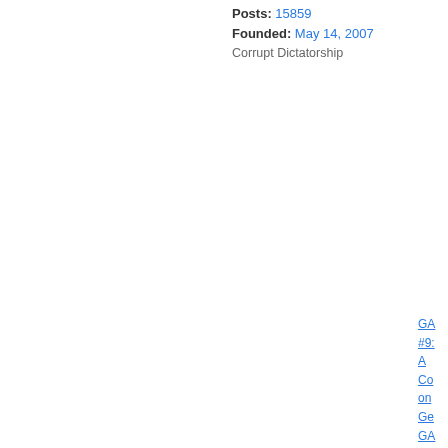4:11 am
Posts: 15859
Founded: May 14, 2007
Corrupt Dictatorship
GA
#9:
A
Co
on
Ge
GA
#1:
Es: